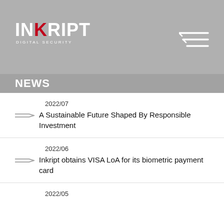[Figure (logo): Inkript Digital Security logo — white bold text with red accent on grey banner background, with hamburger/filter icon top right]
NEWS
2022/07
A Sustainable Future Shaped By Responsible Investment
2022/06
Inkript obtains VISA LoA for its biometric payment card
2022/05